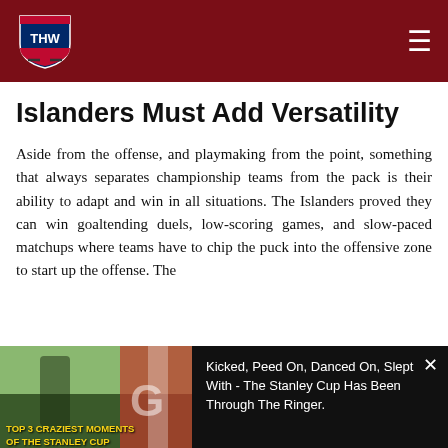THW - The Hockey Writers
Islanders Must Add Versatility
Aside from the offense, and playmaking from the point, something that always separates championship teams from the pack is their ability to adapt and win in all situations. The Islanders proved they can win goaltending duels, low-scoring games, and slow-paced matchups where teams have to chip the puck into the offensive zone to start up the offense. The
[Figure (screenshot): Video overlay banner showing a hockey celebration image on the left with text 'TOP 3 CRAZIEST MOMENTS OF THE STANLEY CUP' and on the right on black background: 'Kicked, Peed On, Danced On, Slept With - The Stanley Cup Has Been Through The Ringer.' with a close X button]
scored more than three goals in a game.
[Figure (screenshot): Ad strip with egg image and text 'Recommend: This' and 'n/a' with a blue arrow button]